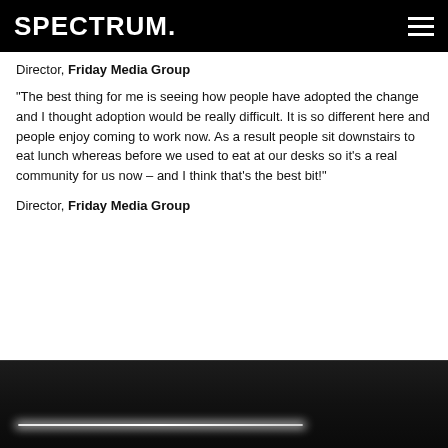SPECTRUM.
Director, Friday Media Group
“The best thing for me is seeing how people have adopted the change and I thought adoption would be really difficult. It is so different here and people enjoy coming to work now. As a result people sit downstairs to eat lunch whereas before we used to eat at our desks so it’s a real community for us now – and I think that’s the best bit!”
Director, Friday Media Group
[Figure (photo): Dark interior photo showing a horizontal linear light fixture against a dark ceiling/wall background.]